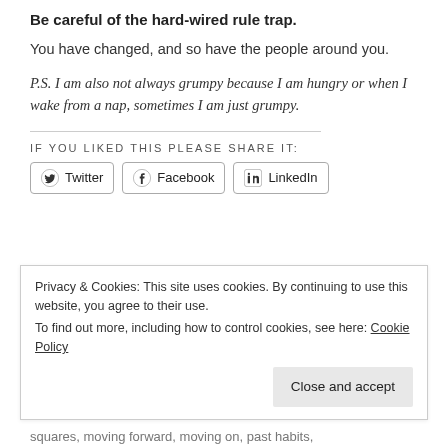Be careful of the hard-wired rule trap.
You have changed, and so have the people around you.
P.S. I am also not always grumpy because I am hungry or when I wake from a nap, sometimes I am just grumpy.
IF YOU LIKED THIS PLEASE SHARE IT:
[Figure (other): Social share buttons for Twitter, Facebook, and LinkedIn]
Privacy & Cookies: This site uses cookies. By continuing to use this website, you agree to their use. To find out more, including how to control cookies, see here: Cookie Policy
squares, moving forward, moving on, past habits,